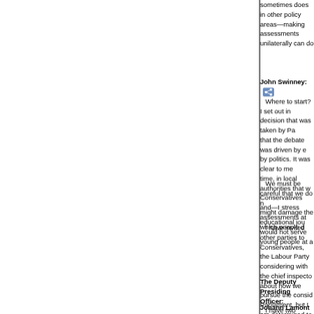sometimes does in other policy areas—making assessments unilaterally can do
John Swinney: Where to start? I set out in detail the decision that was taken by Parliament, and that the debate was driven by evidence, not by politics. It was clear to me, at the time, in local authorities that were run by Conservatives and—I stress—assessments at which people d
We must be careful that we do not take action that might damage the educational jou would not serve young people at a
I have invited other parties to Conservatives, the Labour Party considering with the chief inspecto about how we pursue the consid Parliament, but I am determined to people in Scotland.
The Deputy Presiding Officer: I have two requests for suppleme
Johann Lamont (Glasgow) (Lob